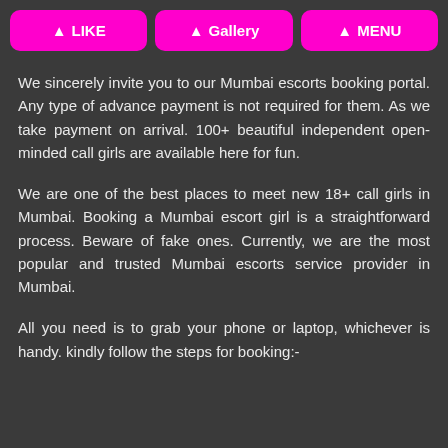LIKE | Gallery | MENU
We sincerely invite you to our Mumbai escorts booking portal. Any type of advance payment is not required for them. As we take payment on arrival. 100+ beautiful independent open-minded call girls are available here for fun.
We are one of the best places to meet new 18+ call girls in Mumbai. Booking a Mumbai escort girl is a straightforward process. Beware of fake ones. Currently, we are the most popular and trusted Mumbai escorts service provider in Mumbai.
All you need is to grab your phone or laptop, whichever is handy. kindly follow the steps for booking:-